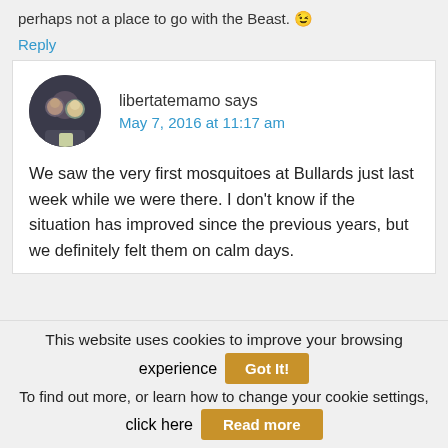perhaps not a place to go with the Beast. 😉
Reply
libertatemamo says
May 7, 2016 at 11:17 am
[Figure (photo): Circular avatar photo of two people]
We saw the very first mosquitoes at Bullards just last week while we were there. I don't know if the situation has improved since the previous years, but we definitely felt them on calm days.
This website uses cookies to improve your browsing experience
Got It!
To find out more, or learn how to change your cookie settings, click here
Read more